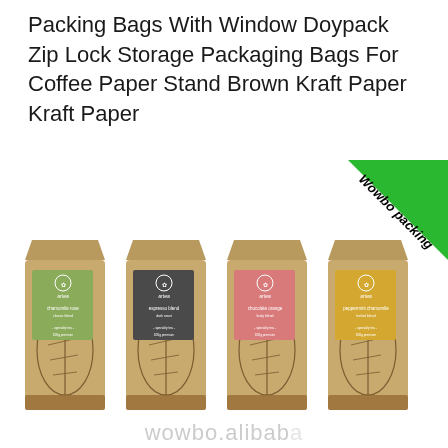Packing Bags With Window Doypack Zip Lock Storage Packaging Bags For Coffee Paper Stand Brown Kraft Paper Kraft Paper
[Figure (photo): Four kraft paper stand-up bags with botanical leaf illustrations and colored label panels (green, dark gray, pink, yellow), displayed side by side with a 'Wowbo packing' green diagonal banner in the top right corner]